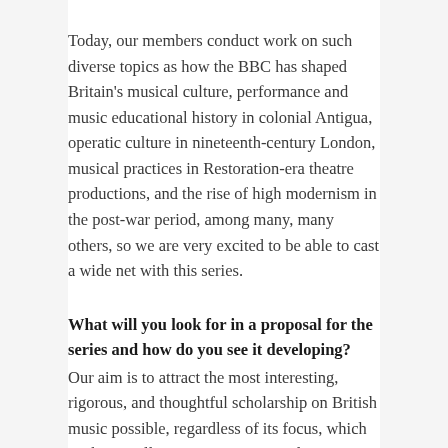Today, our members conduct work on such diverse topics as how the BBC has shaped Britain's musical culture, performance and music educational history in colonial Antigua, operatic culture in nineteenth-century London, musical practices in Restoration-era theatre productions, and the rise of high modernism in the post-war period, among many, many others, so we are very excited to be able to cast a wide net with this series.
What will you look for in a proposal for the series and how do you see it developing?
Our aim is to attract the most interesting, rigorous, and thoughtful scholarship on British music possible, regardless of its focus, which we hope will attract many potential contributors. It would be wonderful to see some work in